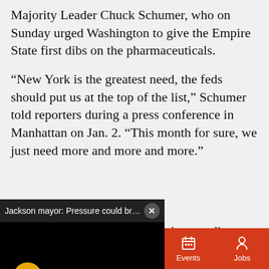Majority Leader Chuck Schumer, who on Sunday urged Washington to give the Empire State first dibs on the pharmaceuticals.
“New York is the greatest need, the feds should put us at the top of the list,” Schumer told reporters during a press conference in Manhattan on Jan. 2. “This month for sure, we just need more and more and more.”
[Figure (screenshot): Video overlay with title 'Jackson mayor: Pressure could break pi...' with close button, black video frame, yellow mute button, and partial text visible to the right: 'how to divvy up the pair', 'ccording to the Senate', 'cases, we are number one', 'n terms of per capita']
Sections   Contact   Home Pros   Events   Jobs